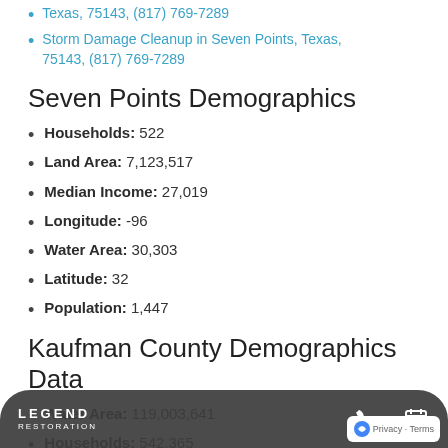Texas, 75143, (817) 769-7289
Storm Damage Cleanup in Seven Points, Texas, 75143, (817) 769-7289
Seven Points Demographics
Households: 522
Land Area: 7,123,517
Median Income: 27,019
Longitude: -96
Water Area: 30,303
Latitude: 32
Population: 1,447
Kaufman County Demographics Data
Water Area: 119,003,641
Households: 542,365
Population: 1,532,225
Median Income: 62,953
Land Area: 1,318,565,888